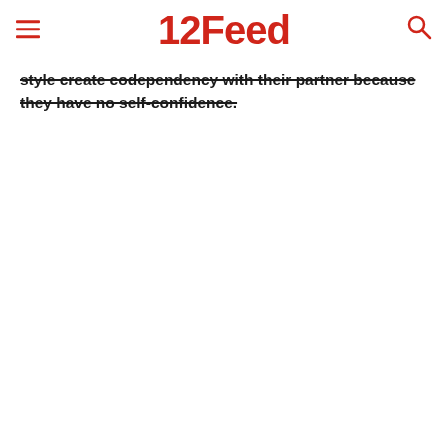12Feed
style create codependency with their partner because they have no self-confidence.